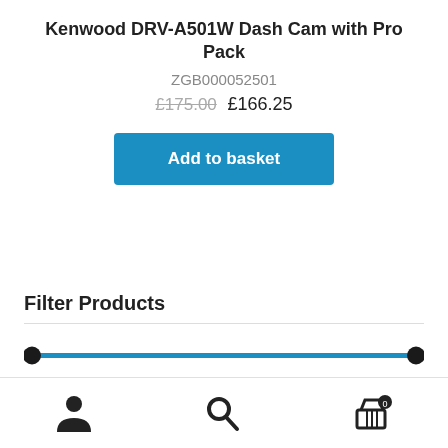Kenwood DRV-A501W Dash Cam with Pro Pack
ZGB000052501
£175.00  £166.25
Add to basket
Filter Products
Price: £4 — £1,565